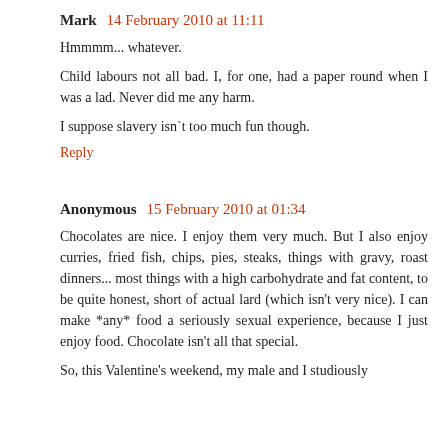Mark  14 February 2010 at 11:11
Hmmmm... whatever.
Child labours not all bad. I, for one, had a paper round when I was a lad. Never did me any harm.
I suppose slavery isn`t too much fun though.
Reply
Anonymous  15 February 2010 at 01:34
Chocolates are nice. I enjoy them very much. But I also enjoy curries, fried fish, chips, pies, steaks, things with gravy, roast dinners... most things with a high carbohydrate and fat content, to be quite honest, short of actual lard (which isn't very nice). I can make *any* food a seriously sexual experience, because I just enjoy food. Chocolate isn't all that special.
So, this Valentine's weekend, my male and I studiously